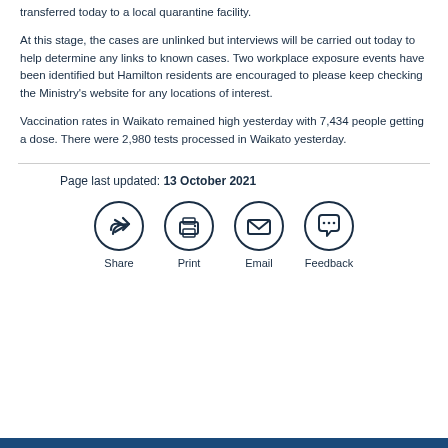transferred today to a local quarantine facility.
At this stage, the cases are unlinked but interviews will be carried out today to help determine any links to known cases. Two workplace exposure events have been identified but Hamilton residents are encouraged to please keep checking the Ministry's website for any locations of interest.
Vaccination rates in Waikato remained high yesterday with 7,434 people getting a dose. There were 2,980 tests processed in Waikato yesterday.
Page last updated: 13 October 2021
[Figure (infographic): Four social sharing icons in circles: Share (arrow), Print (printer), Email (envelope), Feedback (speech bubble)]